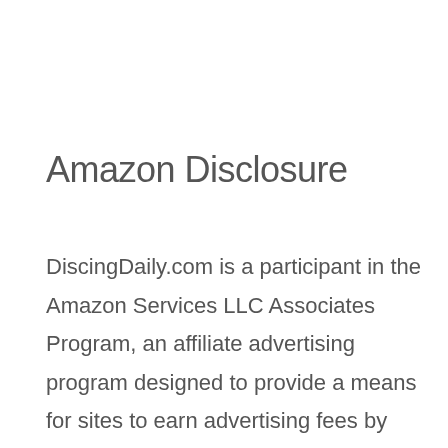Amazon Disclosure
DiscingDaily.com is a participant in the Amazon Services LLC Associates Program, an affiliate advertising program designed to provide a means for sites to earn advertising fees by advertising and linking